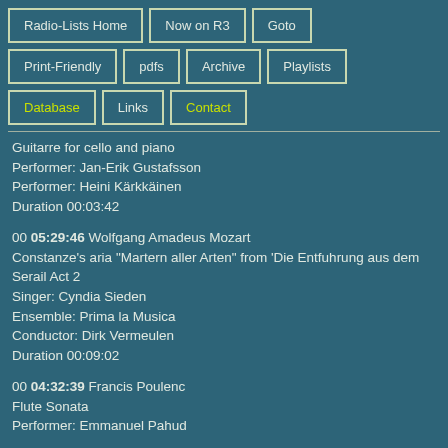Radio-Lists Home
Now on R3
Goto
Print-Friendly
pdfs
Archive
Playlists
Database
Links
Contact
Guitarre for cello and piano
Performer: Jan-Erik Gustafsson
Performer: Heini Kärkkäinen
Duration 00:03:42
00 05:29:46 Wolfgang Amadeus Mozart
Constanze's aria "Martern aller Arten" from 'Die Entfuhrung aus dem Serail Act 2
Singer: Cyndia Sieden
Ensemble: Prima la Musica
Conductor: Dirk Vermeulen
Duration 00:09:02
00 04:32:39 Francis Poulenc
Flute Sonata
Performer: Emmanuel Pahud